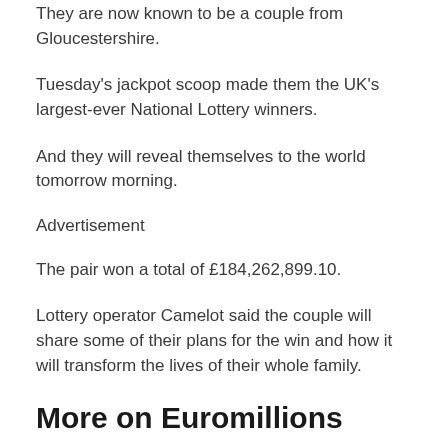They are now known to be a couple from Gloucestershire.
Tuesday's jackpot scoop made them the UK's largest-ever National Lottery winners.
And they will reveal themselves to the world tomorrow morning.
Advertisement
The pair won a total of £184,262,899.10.
Lottery operator Camelot said the couple will share some of their plans for the win and how it will transform the lives of their whole family.
More on Euromillions